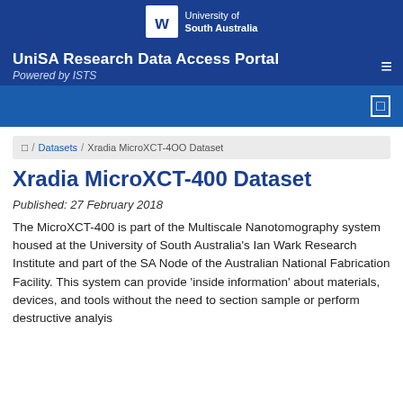[Figure (logo): University of South Australia logo with shield icon and white text]
UniSA Research Data Access Portal
Powered by ISTS
Datasets / Xradia MicroXCT-400 Dataset
Xradia MicroXCT-400 Dataset
Published: 27 February 2018
The MicroXCT-400 is part of the Multiscale Nanotomography system housed at the University of South Australia's Ian Wark Research Institute and part of the SA Node of the Australian National Fabrication Facility. This system can provide 'inside information' about materials, devices, and tools without the need to section sample or perform destructive analyis